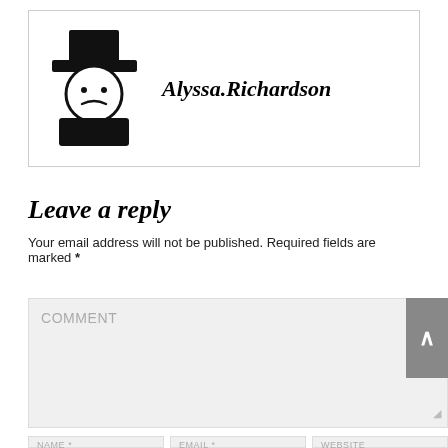[Figure (illustration): Stylized black silhouette avatar of a person wearing a top hat, with a simple face and shoulders, rendered as a logo/icon]
Alyssa.Richardson
Leave a reply
Your email address will not be published. Required fields are marked *
COMMENT
NAME *
EMAIL *
WEBSITE